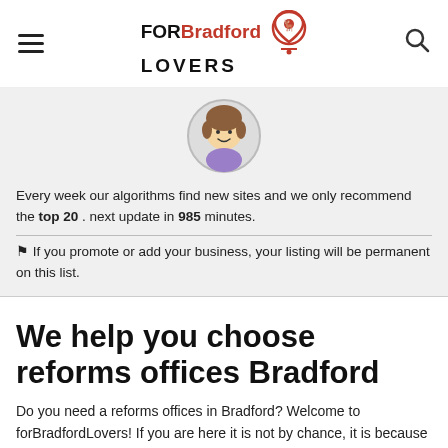FOR Bradford LOVERS
[Figure (illustration): Circular avatar illustration of a cartoon person with brown hair and purple top]
Every week our algorithms find new sites and we only recommend the top 20 . next update in 985 minutes.
⚑ If you promote or add your business, your listing will be permanent on this list.
We help you choose reforms offices Bradford
Do you need a reforms offices in Bradford? Welcome to forBradfordLovers! If you are here it is not by chance, it is because you already start your searching for forBradfordFit...